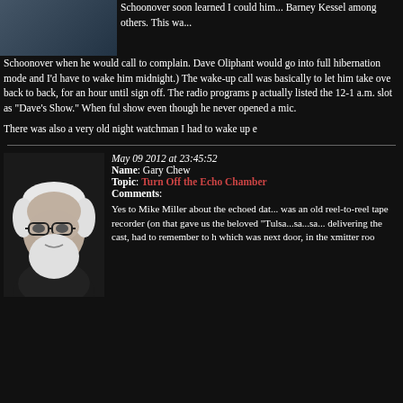[Figure (photo): Partial photo of a person at top left]
Schoonover soon learned I could him... Barney Kessel among others. This wa... Schoonover when he would call to complain. Dave Oliphant would go into full hibernation mode and I'd have to wake him midnight.) The wake-up call was basically to let him take ove back to back, for an hour until sign off. The radio programs p actually listed the 12-1 a.m. slot as "Dave's Show." When ful show even though he never opened a mic.
There was also a very old night watchman I had to wake up e
[Figure (photo): Black and white portrait photo of an older man with white hair and beard wearing glasses]
May 09 2012 at 23:45:52
Name: Gary Chew
Topic: Turn Off the Echo Chamber
Comments:

Yes to Mike Miller about the echoed dat... was an old reel-to-reel tape recorder (on that gave us the beloved "Tulsa...sa...sa... delivering the cast, had to remember to h which was next door, in the xmitter roo